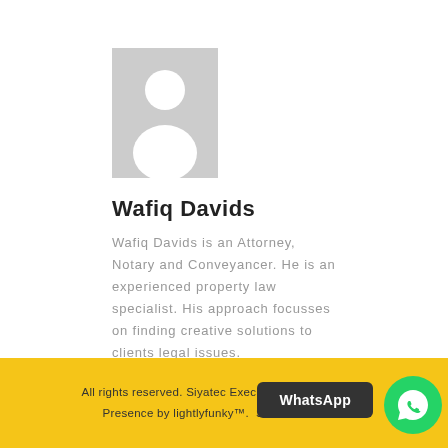[Figure (photo): Generic profile/avatar placeholder image showing a silhouette of a person on a grey background]
Wafiq Davids
Wafiq Davids is an Attorney, Notary and Conveyancer. He is an experienced property law specialist. His approach focusses on finding creative solutions to clients legal issues.
All rights reserved. Siyatec Executors                 Presence by lightlyfunky™.  SA Corona Virus